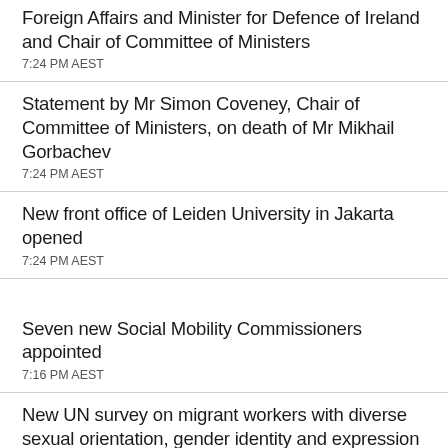Foreign Affairs and Minister for Defence of Ireland and Chair of Committee of Ministers
7:24 PM AEST
Statement by Mr Simon Coveney, Chair of Committee of Ministers, on death of Mr Mikhail Gorbachev
7:24 PM AEST
New front office of Leiden University in Jakarta opened
7:24 PM AEST
Seven new Social Mobility Commissioners appointed
7:16 PM AEST
New UN survey on migrant workers with diverse sexual orientation, gender identity and expression in South-East Asia